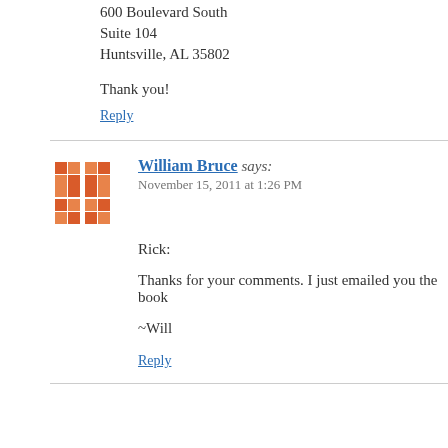600 Boulevard South
Suite 104
Huntsville, AL 35802
Thank you!
Reply
William Bruce says:
November 15, 2011 at 1:26 PM
Rick:
Thanks for your comments. I just emailed you the book
~Will
Reply